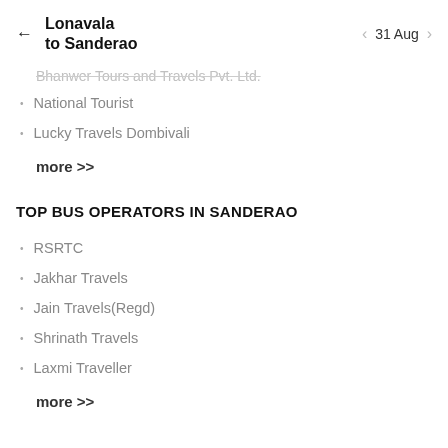Lonavala to Sanderao  ← | 31 Aug
Bhanwer Tours and Travels Pvt. Ltd.
National Tourist
Lucky Travels Dombivali
more >>
TOP BUS OPERATORS IN SANDERAO
RSRTC
Jakhar Travels
Jain Travels(Regd)
Shrinath Travels
Laxmi Traveller
more >>